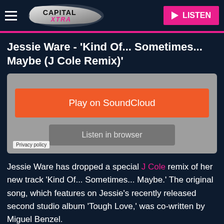[Figure (logo): Capital Xtra radio station logo in header with hamburger menu and pink LISTEN button]
Jessie Ware - 'Kind Of... Sometimes... Maybe (J Cole Remix)'
[Figure (screenshot): SoundCloud embedded player with orange 'Play on SoundCloud' button and grey 'Listen in browser' button on grey background, with Privacy policy label]
Jessie Ware has dropped a special J Cole remix of her new track 'Kind Of... Sometimes... Maybe.' The original song, which features on Jessie's recently released second studio album 'Tough Love,' was co-written by Miguel Benzel.